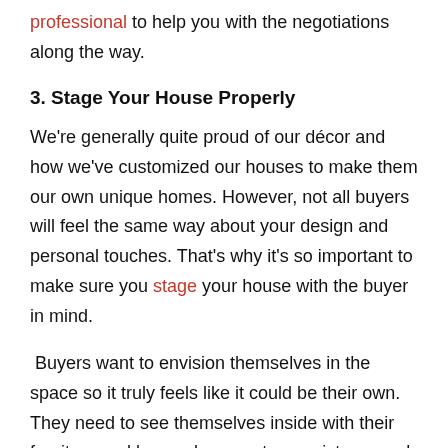professional to help you with the negotiations along the way.
3. Stage Your House Properly
We're generally quite proud of our décor and how we've customized our houses to make them our own unique homes. However, not all buyers will feel the same way about your design and personal touches. That's why it's so important to make sure you stage your house with the buyer in mind.
Buyers want to envision themselves in the space so it truly feels like it could be their own. They need to see themselves inside with their furniture and keepsakes – not your pictures and decorations. Stage, clean, and declutter so they can visualize their own dreams as they walk through each room. A real estate professional can help you